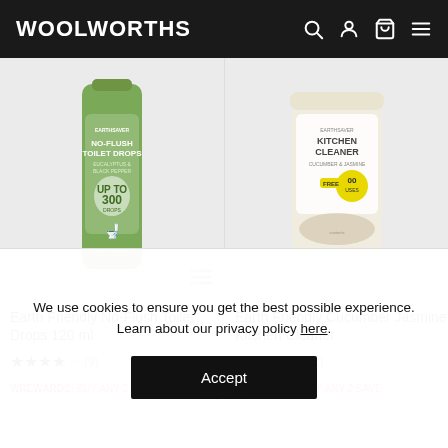WOOLWORTHS
[Figure (photo): Earth Friendly No-Flush Toilet Drops 120ml green bottle product image]
[Figure (photo): Earth Friendly Cucumber Jasmine Kitchen Cleaner product image in a clear jar with white lid]
Earth Friendly No-Flush Toilet Drops 120 ml
★★★★★ (9)
WREWARDS: BUY ANY 2 SAVE 20%
Earth Friendly Cucumber Jasmine Kitchen Cleaner
★★★★★ (2)
WREWARDS: BUY ANY 2 SAVE
We use cookies to ensure you get the best possible experience. Learn about our privacy policy here.
Accept